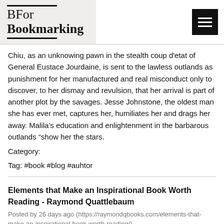[Figure (logo): BFor Bookmarking logo with decorative lines above and below, on a light beige background. Hamburger menu button on the right.]
Chiu, as an unknowing pawn in the stealth coup d'etat of General Eustace Jourdaine, is sent to the lawless outlands as punishment for her manufactured and real misconduct only to discover, to her dismay and revulsion, that her arrival is part of another plot by the savages. Jesse Johnstone, the oldest man she has ever met, captures her, humiliates her and drags her away. Malila's education and enlightenment in the barbarous outlands “show her the stars.
Category:
Tag: #book #blog #auhtor
Elements that Make an Inspirational Book Worth Reading - Raymond Quattlebaum
Posted by 26 days ago (https://raymondqbooks.com/elements-that-make-an-inspirational-book-worth-reading/)